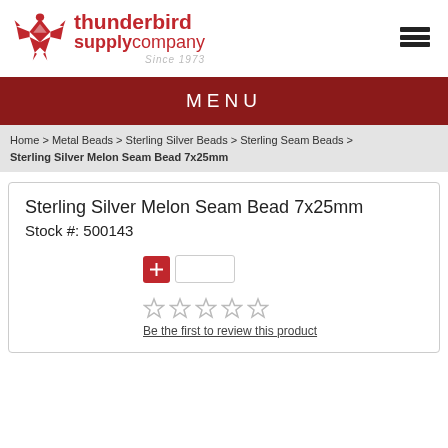[Figure (logo): Thunderbird Supply Company logo with red thunderbird icon and text]
MENU
Home > Metal Beads > Sterling Silver Beads > Sterling Seam Beads > Sterling Silver Melon Seam Bead 7x25mm
Sterling Silver Melon Seam Bead 7x25mm
Stock #: 500143
Be the first to review this product